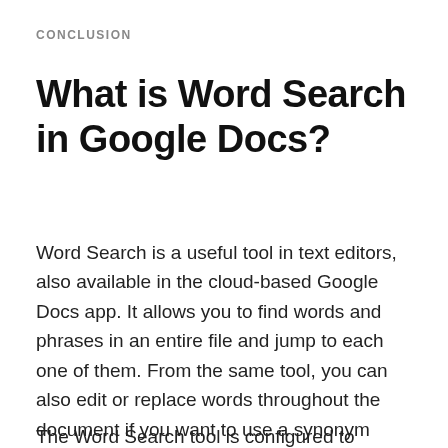CONCLUSION
What is Word Search in Google Docs?
Word Search is a useful tool in text editors, also available in the cloud-based Google Docs app. It allows you to find words and phrases in an entire file and jump to each one of them. From the same tool, you can also edit or replace words throughout the document if you want to use a synonym instead.
The Word Search tool is configured to...